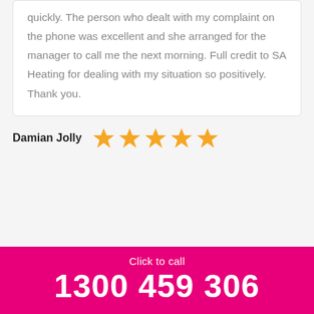quickly. The person who dealt with my complaint on the phone was excellent and she arranged for the manager to call me the next morning. Full credit to SA Heating for dealing with my situation so positively. Thank you.
Damian Jolly ★★★★★
Click to call
1300 459 306